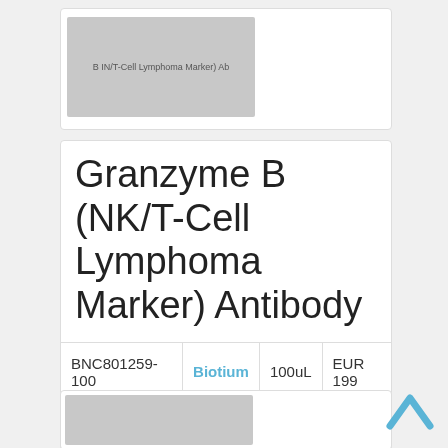[Figure (photo): Partial product card image visible at top of page (truncated), showing label text: B IN/T-Cell Lymphoma Marker) Ab]
Granzyme B (NK/T-Cell Lymphoma Marker) Antibody
|  |  |  |  |
| --- | --- | --- | --- |
| BNC801259-100 | Biotium | 100uL | EUR 199 |
Description: Primary antibody against Granzyme B (NK/T-Cell Lymphoma Marker), CF680 conjugate, Concentration: 0.1mg/mL
[Figure (photo): Partial product card image visible at bottom of page (truncated)]